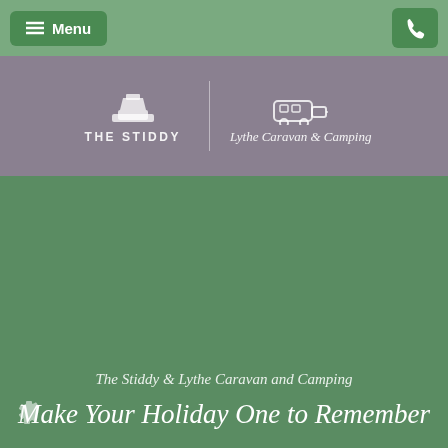Menu
[Figure (logo): THE STIDDY | Lythe Caravan & Camping logo with anvil and caravan icons on grey/mauve background]
The Stiddy & Lythe Caravan and Camping
Make Your Holiday One to Remember